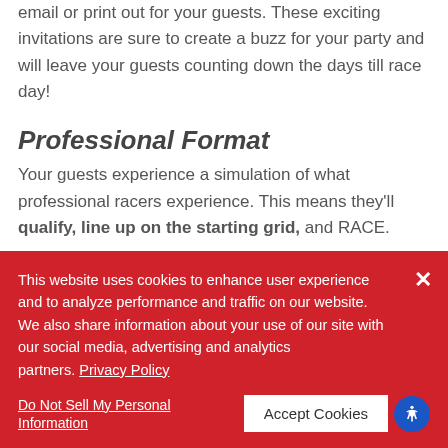email or print out for your guests. These exciting invitations are sure to create a buzz for your party and will leave your guests counting down the days till race day!
Professional Format
Your guests experience a simulation of what professional racers experience. This means they'll qualify, line up on the starting grid, and RACE.
Podium Celebrations
This website uses cookies to enhance user experience and to analyze performance and traffic on our website. We also share information about your use of our site with our social media, advertising and analytics partners. Privacy Policy
Do Not Sell My Personal Information
Accept Cookies